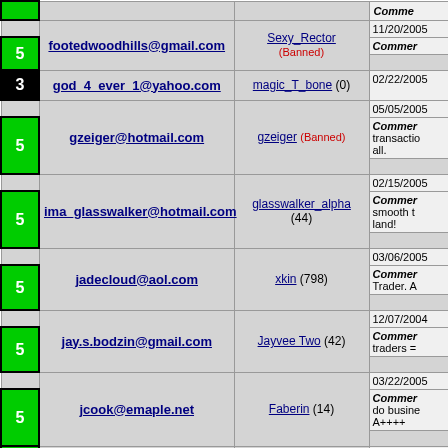| Rating | Email | Username | Date/Comment |
| --- | --- | --- | --- |
| 5 | footedwoodhills@gmail.com | Sexy_Rector (Banned) | 11/20/2005 | Commer... |
| 3 | god_4_ever_1@yahoo.com | magic_T_bone (0) | 02/22/2005 |
| 5 | gzeiger@hotmail.com | gzeiger (Banned) | 05/05/2005 | Commer... transactio... all. |
| 5 | ima_glasswalker@hotmail.com | glasswalker_alpha (44) | 02/15/2005 | Commer... smooth t... land! |
| 5 | jadecloud@aol.com | xkin (798) | 03/06/2005 | Commer... Trader. A... |
| 5 | jay.s.bodzin@gmail.com | Jayvee Two (42) | 12/07/2004 | Commer... traders =... |
| 5 | jcook@emaple.net | Faberin (14) | 03/22/2005 | Commer... do busine... A++++ |
|  |  |  | 10/29/2004 |